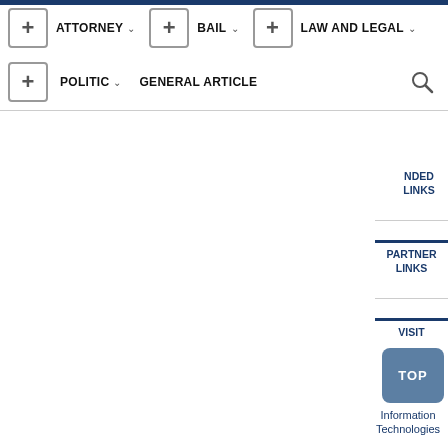[Figure (screenshot): Navigation menu with plus buttons and menu items: ATTORNEY, BAIL, LAW AND LEGAL, POLITIC, GENERAL ARTICLE, and search icon]
LINKS
PARTNER LINKS
VISIT
TOP
Information Technologies